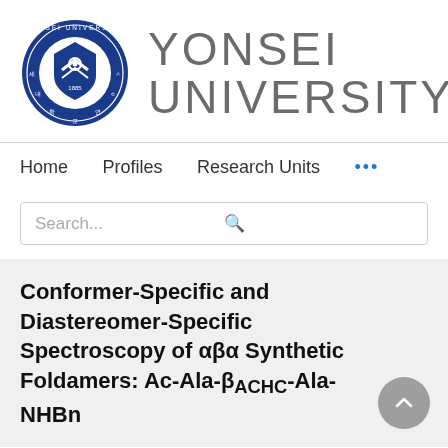[Figure (logo): Yonsei University logo: circular blue seal with shield emblem and text 'YONSEI UNIVERSITY' in large gray letters to the right]
Home   Profiles   Research Units   ...
Search...
Conformer-Specific and Diastereomer-Specific Spectroscopy of αβα Synthetic Foldamers: Ac-Ala-βACHC-Ala-NHBn